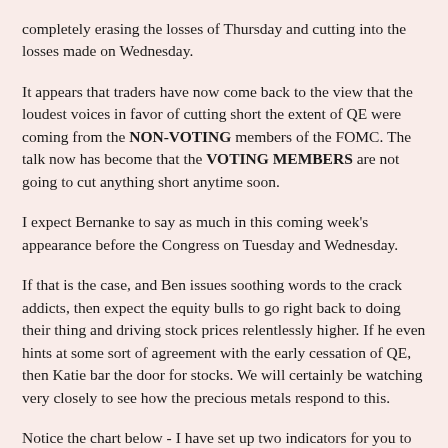completely erasing the losses of Thursday and cutting into the losses made on Wednesday.
It appears that traders have now come back to the view that the loudest voices in favor of cutting short the extent of QE were coming from the NON-VOTING members of the FOMC. The talk now has become that the VOTING MEMBERS are not going to cut anything short anytime soon.
I expect Bernanke to say as much in this coming week's appearance before the Congress on Tuesday and Wednesday.
If that is the case, and Ben issues soothing words to the crack addicts, then expect the equity bulls to go right back to doing their thing and driving stock prices relentlessly higher. If he even hints at some sort of agreement with the early cessation of QE, then Katie bar the door for stocks. We will certainly be watching very closely to see how the precious metals respond to this.
Notice the chart below - I have set up two indicators for you to observe. The first is the ADX or Directional Movement Indicator that it is more commonly known by. The black line is the ADX. IT